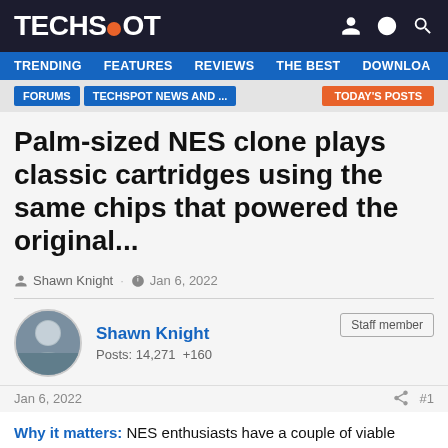TECHSPOT
TRENDING  FEATURES  REVIEWS  THE BEST  DOWNLOA
FORUMS  TECHSPOT NEWS AND ...  TODAY'S POSTS
Palm-sized NES clone plays classic cartridges using the same chips that powered the original...
Shawn Knight · Jan 6, 2022
Shawn Knight
Posts: 14,271  +160
Staff member
Jan 6, 2022  #1
Why it matters: NES enthusiasts have a couple of viable options to get their fix in 2022 including a brand new